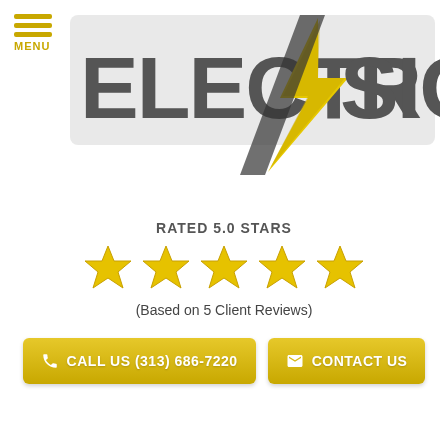[Figure (logo): Electro Signs company logo with lightning bolt graphic, yellow and dark gray text]
RATED 5.0 STARS
[Figure (infographic): Five gold/yellow star icons representing a 5-star rating]
(Based on 5 Client Reviews)
CALL US (313) 686-7220
CONTACT US